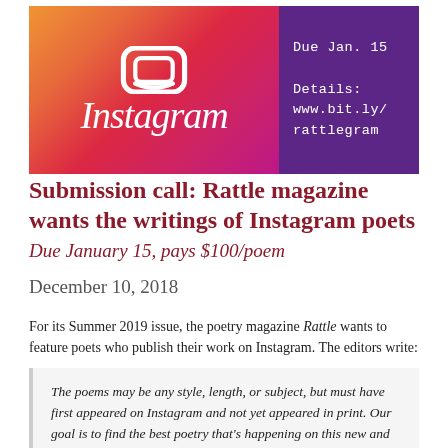[Figure (illustration): Instagram promotional banner. Left side has an orange-to-pink gradient background with a stylized Instagram icon and the word 'Instagram' in white italic script. Right side is purple with white monospace text: 'Due Jan. 15' and 'Details: www.bit.ly/rattlegram'.]
Submission call: Rattle magazine wants the writings of Instagram poets
Due January 15, pays $100/poem
December 10, 2018
For its Summer 2019 issue, the poetry magazine Rattle wants to feature poets who publish their work on Instagram. The editors write:
The poems may be any style, length, or subject, but must have first appeared on Instagram and not yet appeared in print. Our goal is to find the best poetry that's happening on this new and